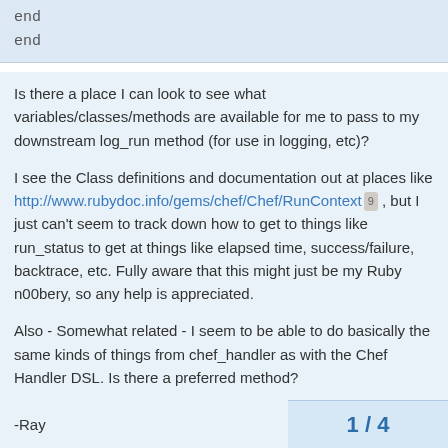end
end
Is there a place I can look to see what variables/classes/methods are available for me to pass to my downstream log_run method (for use in logging, etc)?
I see the Class definitions and documentation out at places like http://www.rubydoc.info/gems/chef/Chef/RunContext 9 , but I just can't seem to track down how to get to things like run_status to get at things like elapsed time, success/failure, backtrace, etc. Fully aware that this might just be my Ruby n00bery, so any help is appreciated.
Also - Somewhat related - I seem to be able to do basically the same kinds of things from chef_handler as with the Chef Handler DSL. Is there a preferred method?
-Ray
1 / 4